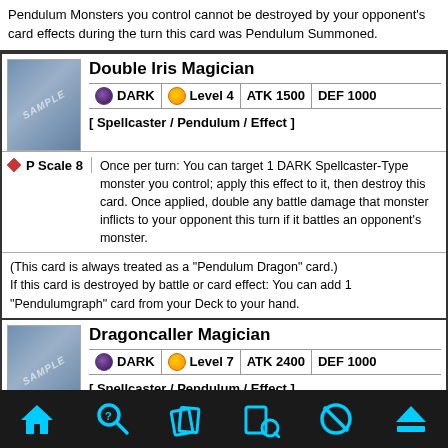Pendulum Monsters you control cannot be destroyed by your opponent's card effects during the turn this card was Pendulum Summoned.
Double Iris Magician
DARK  Level 4  ATK 1500  DEF 1000
[ Spellcaster / Pendulum / Effect ]
P Scale 8 - Once per turn: You can target 1 DARK Spellcaster-Type monster you control; apply this effect to it, then destroy this card. Once applied, double any battle damage that monster inflicts to your opponent this turn if it battles an opponent's monster.
(This card is always treated as a "Pendulum Dragon" card.) If this card is destroyed by battle or card effect: You can add 1 "Pendulumgraph" card from your Deck to your hand.
Dragoncaller Magician
DARK  Level 7  ATK 2400  DEF 1000
[ Spellcaster / Pendulum / Effect ]
P Scale 2 - Once per turn: You can target 1 face-up monster on the field; it becomes Dragon-Type until the end of your
Home | Search | Cards | Card Search | Banned | Eject